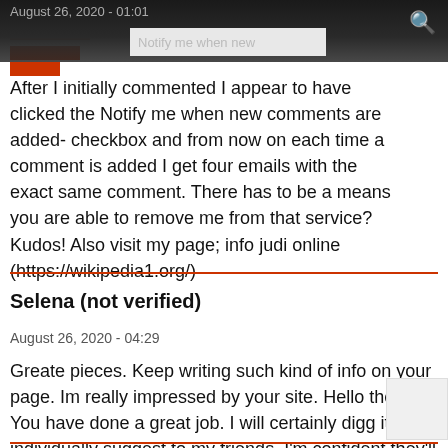August 26, 2020 - 01:01
After I initially commented I appear to have clicked the Notify me when new comments are added- checkbox and from now on each time a comment is added I get four emails with the exact same comment. There has to be a means you are able to remove me from that service? Kudos! Also visit my page; info judi online (https://wikipedia1.org/)
Selena (not verified)
August 26, 2020 - 04:29
Greate pieces. Keep writing such kind of info on your page. Im really impressed by your site. Hello there, You have done a great job. I will certainly digg it and individually suggest to my friends. I'm confident they'll be benefited from this website. my web-site - download Judi online